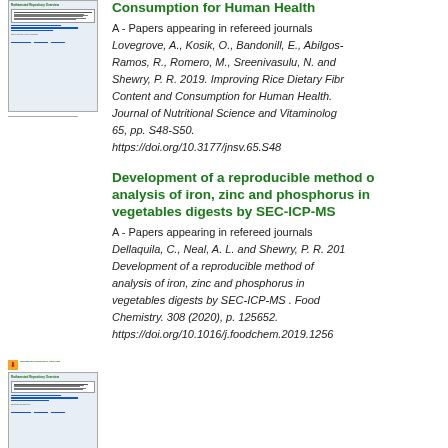[Figure (screenshot): Thumbnail image of a repository document page for 'Improving Rice Dietary Fibre Content and Consumption for Human Health']
Consumption for Human Health
A - Papers appearing in refereed journals
Lovegrove, A., Kosik, O., Bandonill, E., Abilgos-Ramos, R., Romero, M., Sreenivasulu, N. and Shewry, P. R. 2019. Improving Rice Dietary Fibre Content and Consumption for Human Health. Journal of Nutritional Science and Vitaminology. 65, pp. S48-S50. https://doi.org/10.3177/jnsv.65.S48
[Figure (screenshot): Thumbnail image of a repository document page for 'Development of a reproducible method of analysis of iron, zinc and phosphorus in vegetables digests by SEC-ICP-MS']
Development of a reproducible method of analysis of iron, zinc and phosphorus in vegetables digests by SEC-ICP-MS
A - Papers appearing in refereed journals
Dellaquila, C., Neal, A. L. and Shewry, P. R. 201... Development of a reproducible method of analysis of iron, zinc and phosphorus in vegetables digests by SEC-ICP-MS . Food Chemistry. 308 (2020), p. 125652. https://doi.org/10.1016/j.foodchem.2019.1256...